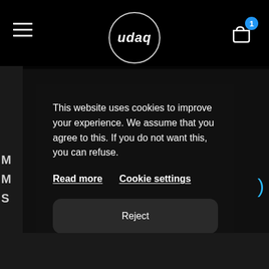[Figure (screenshot): Website navigation bar with hamburger menu on left, 'udaq' logo in center circle, and shopping cart with badge '1' on right, on black background]
This website uses cookies to improve your experience. We assume that you agree to this. If you do not want this, you can refuse.
Read more   Cookie settings
Reject
ACCEPT